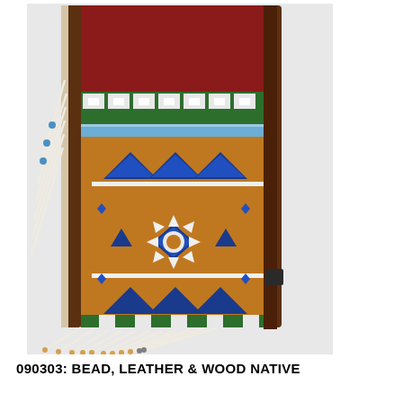[Figure (photo): A Native American beaded bag/cradle board with intricate beadwork. The item features a brown leather frame with red wool/cloth background at top, decorated with green and white geometric beaded patterns and a light blue beaded band. The central section is covered with orange/amber beadwork featuring blue and white geometric designs including triangles, diamonds, and star/snowflake patterns. Along the left and bottom sides hang long white leather fringe with beads at the tips. The background is light gray/white.]
090303: BEAD, LEATHER & WOOD NATIVE